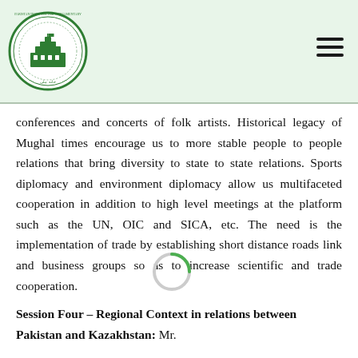Pakistan Institute for Parliamentary Services logo and navigation
conferences and concerts of folk artists. Historical legacy of Mughal times encourage us to more stable people to people relations that bring diversity to state to state relations. Sports diplomacy and environment diplomacy allow us multifaceted cooperation in addition to high level meetings at the platform such as the UN, OIC and SICA, etc. The need is the implementation of trade by establishing short distance roads link and business groups so as to increase scientific and trade cooperation.
Session Four – Regional Context in relations between Pakistan and Kazakhstan: Mr.